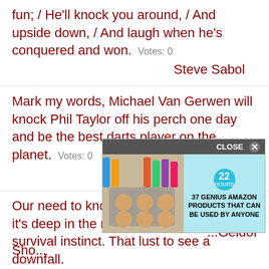fun; / He'll knock you around, / And upside down, / And laugh when he's conquered and won.  Votes: 0
Steve Sabol
Mark my words, Michael Van Gerwen will knock Phil Taylor off his perch one day and be the best darts player on the planet.  Votes: 0
Eric Bristow
Our need to knock celebrities is...Twisted: it's deep in the mid-brain below the survival instinct. That lust to see a downfall. It's animalistic.
[Figure (screenshot): Advertisement overlay with CLOSE button, showing food products image on left and '37 GENIUS AMAZON PRODUCTS THAT CAN BE USED BY ANYONE' text with 22 badge on right, on light blue background]
...Geldof
Sho...